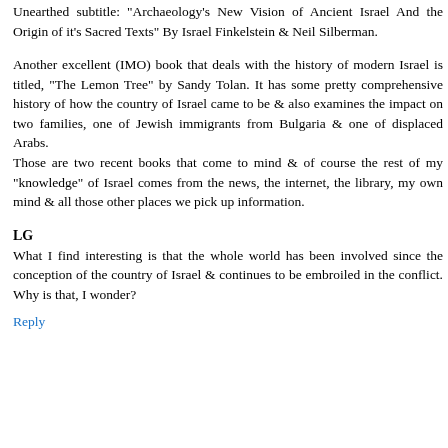Unearthed subtitle: "Archaeology's New Vision of Ancient Israel And the Origin of it's Sacred Texts" By Israel Finkelstein & Neil Silberman.
Another excellent (IMO) book that deals with the history of modern Israel is titled, "The Lemon Tree" by Sandy Tolan. It has some pretty comprehensive history of how the country of Israel came to be & also examines the impact on two families, one of Jewish immigrants from Bulgaria & one of displaced Arabs.
Those are two recent books that come to mind & of course the rest of my "knowledge" of Israel comes from the news, the internet, the library, my own mind & all those other places we pick up information.
LG
What I find interesting is that the whole world has been involved since the conception of the country of Israel & continues to be embroiled in the conflict. Why is that, I wonder?
Reply